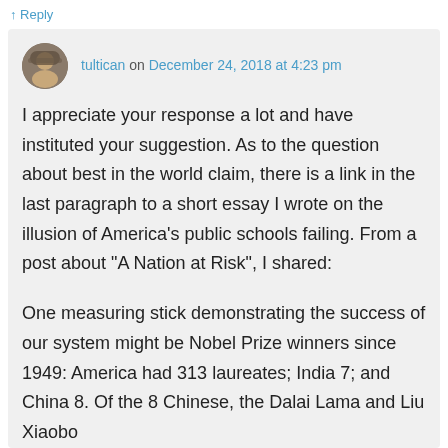↑ Reply
tultican on December 24, 2018 at 4:23 pm
I appreciate your response a lot and have instituted your suggestion. As to the question about best in the world claim, there is a link in the last paragraph to a short essay I wrote on the illusion of America's public schools failing. From a post about "A Nation at Risk", I shared:
One measuring stick demonstrating the success of our system might be Nobel Prize winners since 1949: America had 313 laureates; India 7; and China 8. Of the 8 Chinese, the Dalai Lama and Liu Xiaobo